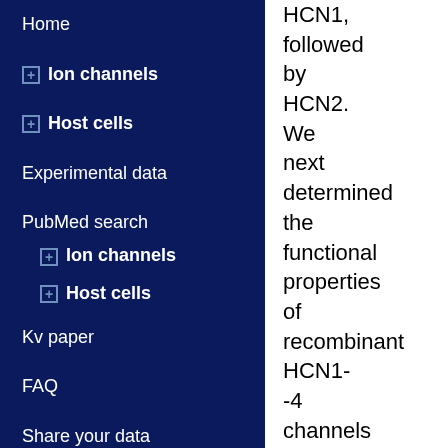Home
Ion channels
Host cells
Experimental data
PubMed search
Ion channels
Host cells
Kv paper
FAQ
Share your data
HCN1, followed by HCN2. We next determined the functional properties of recombinant HCN1--4 channels expressed in HEK293 cells